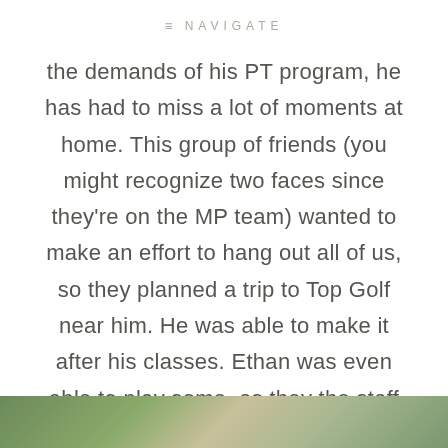NAVIGATE
the demands of his PT program, he has had to miss a lot of moments at home. This group of friends (you might recognize two faces since they're on the MP team) wanted to make an effort to hang out all of us, so they planned a trip to Top Golf near him. He was able to make it after his classes. Ethan was even able to play some, as they the staff handed him toddler-sized clubs! Look at him and daddy!
[Figure (photo): Bottom strip showing partial photo with green plant/palm leaf imagery]